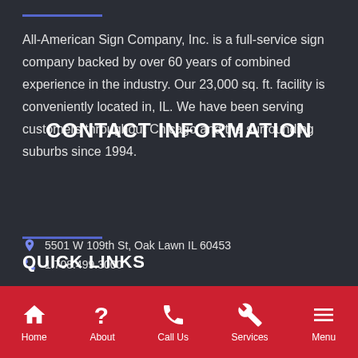All-American Sign Company, Inc. is a full-service sign company backed by over 60 years of combined experience in the industry. Our 23,000 sq. ft. facility is conveniently located in, IL. We have been serving customers throughout Chicago and the surrounding suburbs since 1994.
CONTACT INFORMATION
5501 W 109th St, Oak Lawn IL 60453
1.708.499.3000
QUICK LINKS
Home | About | Call Us | Services | Menu